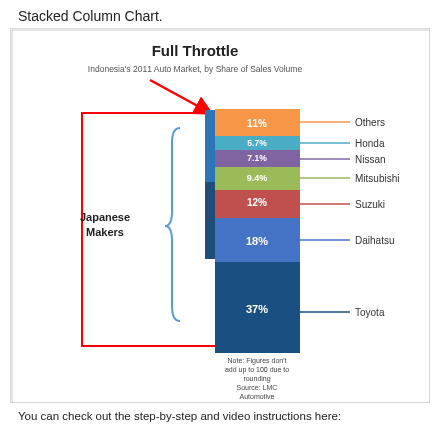Stacked Column Chart.
[Figure (stacked-bar-chart): Full Throttle — Indonesia's 2011 Auto Market, by Share of Sales Volume]
You can check out the step-by-step and video instructions here: